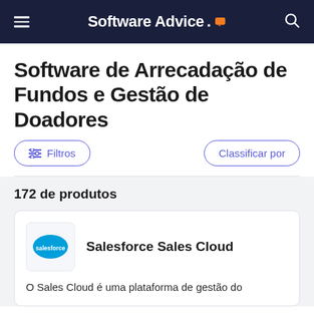Software Advice.
Software de Arrecadação de Fundos e Gestão de Doadores
Filtros
Classificar por
172 de produtos
Salesforce Sales Cloud
O Sales Cloud é uma plataforma de gestão do